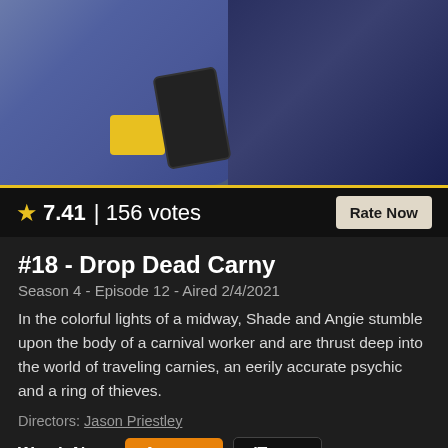[Figure (photo): Two people standing close together, one wearing a purple hoodie/jacket and one wearing a dark navy zip-up jacket, in what appears to be an outdoor setting]
★ 7.41 | 156 votes
Rate Now
#18 - Drop Dead Carny
Season 4 - Episode 12 - Aired 2/4/2021
In the colorful lights of a midway, Shade and Angie stumble upon the body of a carnival worker and are thrust deep into the world of traveling carnies, an eerily accurate psychic and a ring of thieves.
Directors: Jason Priestley
Watch Now: Amazon iTunes